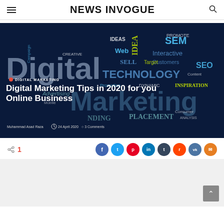NEWS INVOGUE
[Figure (photo): Digital marketing word cloud on dark blue background with words like Digital Marketing, Technology, SEM, SEO, Ideas, Creative, Promotion, Dynamic, Inspiration, Placement, Consumer, Analysis, Web, Sell, Target, Customers, Interactive, Content, Advertising, Campaign, Mobile]
Digital Marketing Tips in 2020 for you Online Business
Muhammad Asad Raza  24 April 2020  3 Comments
1